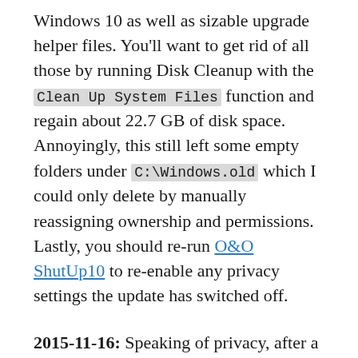Windows 10 as well as sizable upgrade helper files. You'll want to get rid of all those by running Disk Cleanup with the Clean Up System Files function and regain about 22.7 GB of disk space. Annoyingly, this still left some empty folders under C:\Windows.old which I could only delete by manually reassigning ownership and permissions. Lastly, you should re-run O&O ShutUp10 to re-enable any privacy settings the update has switched off.
2015-11-16: Speaking of privacy, after a few reboots Windows popped up a notification stating "WiFi Sense requires my attention. Tap here to fix it." Can you guess what "fix" means? That's right, clicking that notification